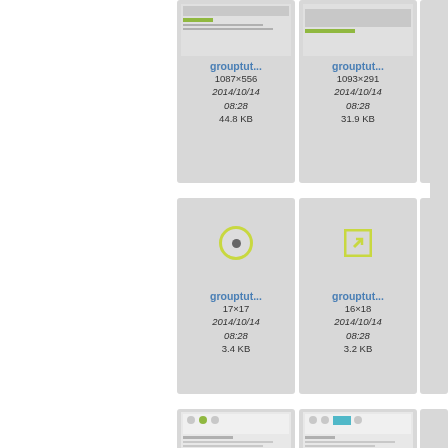[Figure (screenshot): File thumbnail card showing grouptut... image, 1087×556, 2014/10/14 08:28, 44.8 KB]
[Figure (screenshot): File thumbnail card showing grouptut... image, 1093×291, 2014/10/14 08:28, 31.9 KB]
[Figure (screenshot): File thumbnail card showing grouptut... icon 17×17, 2014/10/14 08:28, 3.4 KB]
[Figure (screenshot): File thumbnail card showing grouptut... icon 16×18, 2014/10/14 08:28, 3.2 KB]
[Figure (screenshot): File thumbnail card partially visible at bottom left]
[Figure (screenshot): File thumbnail card partially visible at bottom right]